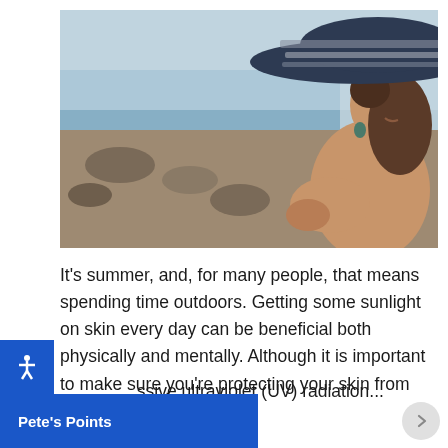[Figure (photo): A woman sitting at a rocky beach, seen from the side, wearing a large striped sun hat (dark navy and white stripes) and applying sunscreen or touching her shoulder. The background shows a blue ocean and rocky shore. The image is shot with a shallow depth of field.]
It's summer, and, for many people, that means spending time outdoors. Getting some sunlight on skin every day can be beneficial both physically and mentally. Although it is important to make sure you're protecting your skin from excessive ultraviolet (UV) radiation...